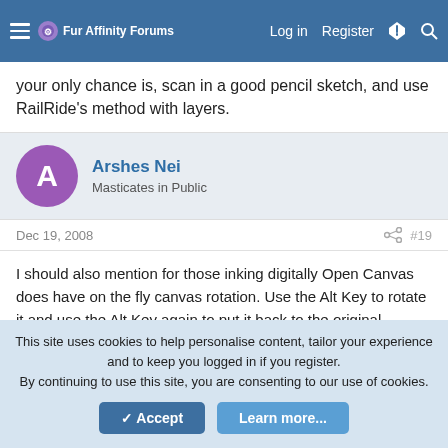Fur Affinity Forums — Log in  Register
your only chance is, scan in a good pencil sketch, and use RailRide's method with layers.
Arshes Nei
Masticates in Public
Dec 19, 2008   #19
I should also mention for those inking digitally Open Canvas does have on the fly canvas rotation. Use the Alt Key to rotate it and use the Alt Key again to put it back to the original orientation. I have a setting in the OC thread in the Tutorials section on how to create an inking pen in Open Canvas.
This site uses cookies to help personalise content, tailor your experience and to keep you logged in if you register.
By continuing to use this site, you are consenting to our use of cookies.